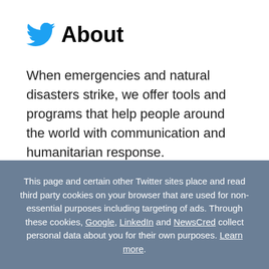About
When emergencies and natural disasters strike, we offer tools and programs that help people around the world with communication and humanitarian response.
This page and certain other Twitter sites place and read third party cookies on your browser that are used for non-essential purposes including targeting of ads. Through these cookies, Google, LinkedIn and NewsCred collect personal data about you for their own purposes. Learn more.